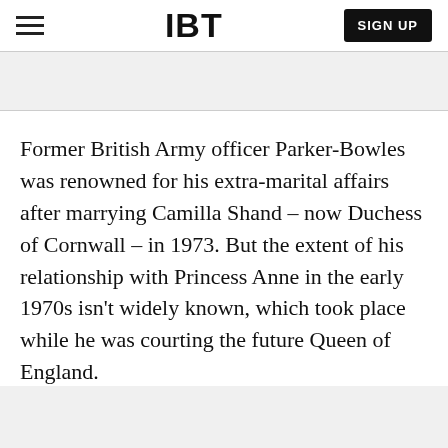IBT
Former British Army officer Parker-Bowles was renowned for his extra-marital affairs after marrying Camilla Shand – now Duchess of Cornwall – in 1973. But the extent of his relationship with Princess Anne in the early 1970s isn't widely known, which took place while he was courting the future Queen of England.